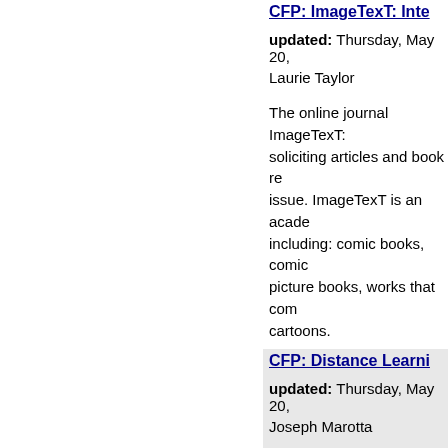CFP: ImageTexT: Inte...
updated: Thursday, May 20,
Laurie Taylor
The online journal ImageTexT: soliciting articles and book re... issue. ImageTexT is an acade... including: comic books, comic picture books, works that com... cartoons.
CFP: Distance Learni...
updated: Thursday, May 20,
Joseph Marotta
Professional Studies Review is University in New York, devot... interests of those working wit...